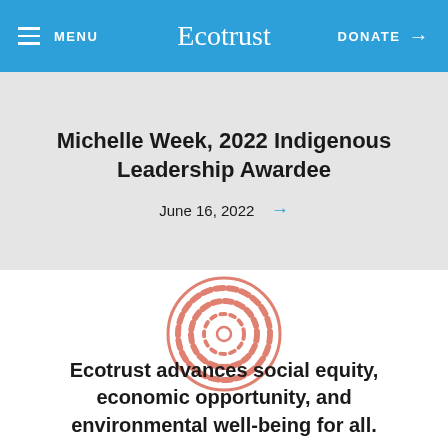MENU | Ecotrust | DONATE →
Michelle Week, 2022 Indigenous Leadership Awardee
June 16, 2022 →
[Figure (illustration): Circular concentric rings logo icon in salmon/coral color, with dashed inner circle and small rounded dash segments forming rings.]
Ecotrust advances social equity, economic opportunity, and environmental well-being for all.